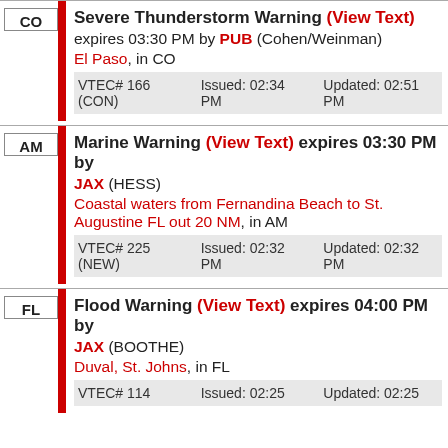CO | Severe Thunderstorm Warning (View Text) expires 03:30 PM by PUB (Cohen/Weinman) El Paso, in CO VTEC# 166 (CON) Issued: 02:34 PM Updated: 02:51 PM
AM | Marine Warning (View Text) expires 03:30 PM by JAX (HESS) Coastal waters from Fernandina Beach to St. Augustine FL out 20 NM, in AM VTEC# 225 (NEW) Issued: 02:32 PM Updated: 02:32 PM
FL | Flood Warning (View Text) expires 04:00 PM by JAX (BOOTHE) Duval, St. Johns, in FL VTEC# 114 Issued: 02:25 Updated: 02:25